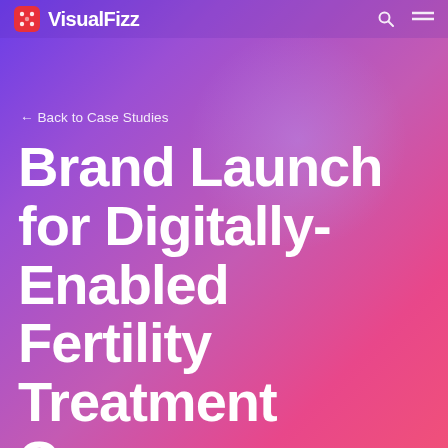VisualFizz
← Back to Case Studies
Brand Launch for Digitally-Enabled Fertility Treatment Company